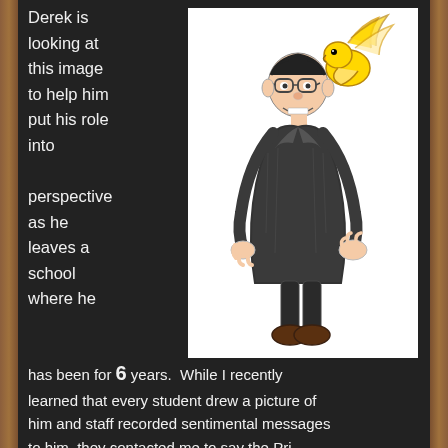Derek is looking at this image to help him put his role into perspective as he leaves a school where he
[Figure (illustration): Child's crayon/pencil drawing of a man in a dark suit with glasses and dark hair. A colorful bird (parrot) is perched near his head. The man has an exaggerated expression.]
has been for 6 years.  While I recently learned that every student drew a picture of him and staff recorded sentimental messages to him, they contacted me to say the Prin...